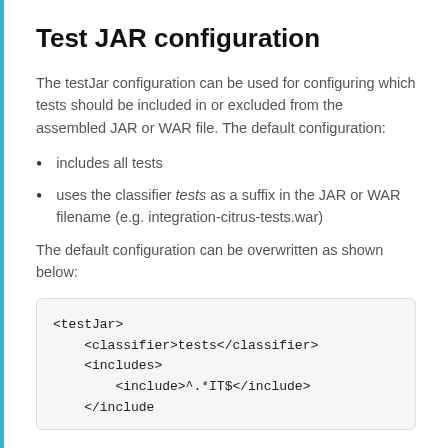Test JAR configuration
The testJar configuration can be used for configuring which tests should be included in or excluded from the assembled JAR or WAR file. The default configuration:
includes all tests
uses the classifier tests as a suffix in the JAR or WAR filename (e.g. integration-citrus-tests.war)
The default configuration can be overwritten as shown below:
<testJar>
    <classifier>tests</classifier>
    <includes>
        <include>^.*IT$</include>
    <includes>